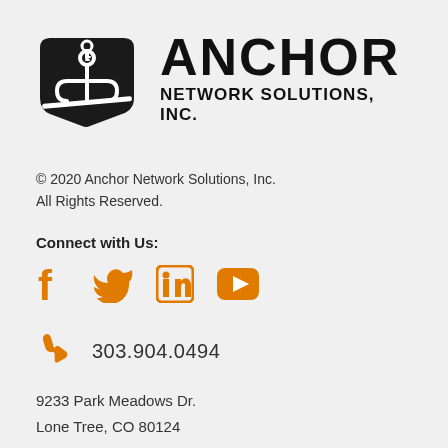[Figure (logo): Anchor Network Solutions, Inc. logo with anchor icon and company name]
© 2020 Anchor Network Solutions, Inc.
All Rights Reserved.
Connect with Us:
[Figure (illustration): Social media icons: Facebook, Twitter, LinkedIn, YouTube in orange]
[Figure (illustration): Phone icon in orange with phone number 303.904.0494]
9233 Park Meadows Dr.
Lone Tree, CO 80124